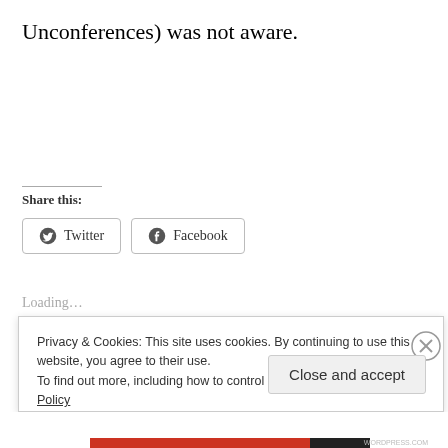Unconferences) was not aware.
Share this:
Twitter
Facebook
Loading...
Privacy & Cookies: This site uses cookies. By continuing to use this website, you agree to their use.
To find out more, including how to control cookies, see here: Cookie Policy
Close and accept